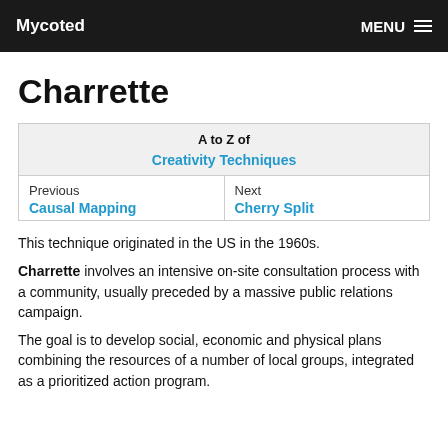Mycoted   MENU
Charrette
| A to Z of Creativity Techniques |
| --- |
| Previous: Causal Mapping | Next: Cherry Split |
This technique originated in the US in the 1960s.
Charrette involves an intensive on-site consultation process with a community, usually preceded by a massive public relations campaign.
The goal is to develop social, economic and physical plans combining the resources of a number of local groups, integrated as a prioritized action program.